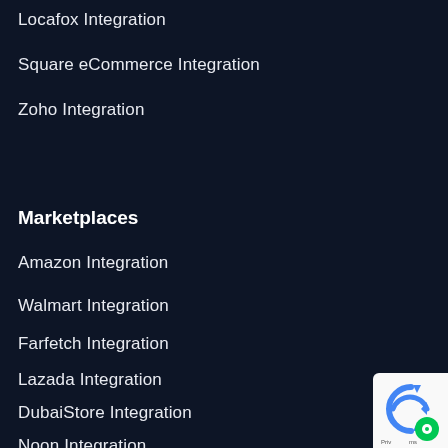Locafox Integration
Square eCommerce Integration
Zoho Integration
Marketplaces
Amazon Integration
Walmart Integration
Farfetch Integration
Lazada Integration
DubaiStore Integration
Noon Integration
[Figure (logo): reCAPTCHA badge with Google logo and green circle icon, bottom right corner]